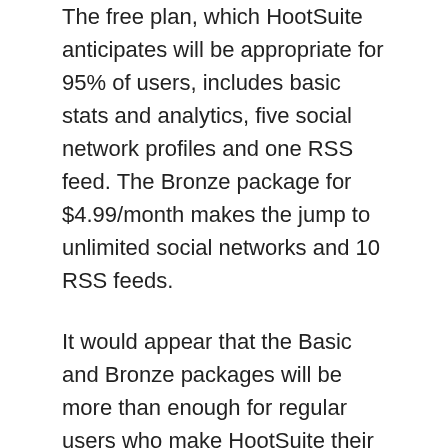The free plan, which HootSuite anticipates will be appropriate for 95% of users, includes basic stats and analytics, five social network profiles and one RSS feed. The Bronze package for $4.99/month makes the jump to unlimited social networks and 10 RSS feeds.
It would appear that the Basic and Bronze packages will be more than enough for regular users who make HootSuite their tool of choice to manage all of their social networks and RSS feeds.
Impact for Power Users